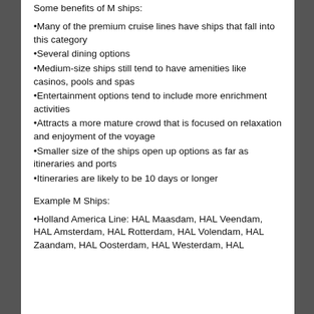Some benefits of M ships:
Many of the premium cruise lines have ships that fall into this category
Several dining options
Medium-size ships still tend to have amenities like casinos, pools and spas
Entertainment options tend to include more enrichment activities
Attracts a more mature crowd that is focused on relaxation and enjoyment of the voyage
Smaller size of the ships open up options as far as itineraries and ports
Itineraries are likely to be 10 days or longer
Example M Ships:
Holland America Line: HAL Maasdam, HAL Veendam, HAL Amsterdam, HAL Rotterdam, HAL Volendam, HAL Zaandam, HAL Oosterdam, HAL Westerdam, HAL